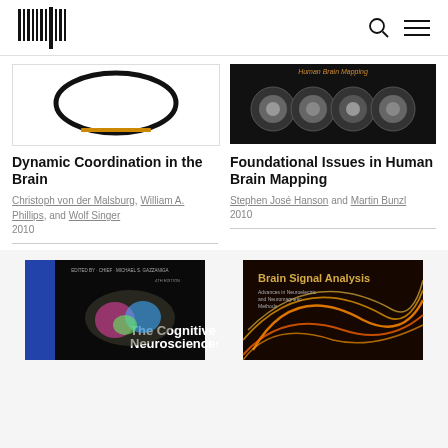MIT Press logo, search icon, menu icon
[Figure (photo): Book cover of Dynamic Coordination in the Brain - white cover with black circle]
[Figure (photo): Book cover of Foundational Issues in Human Brain Mapping - black cover with brain MRI scans]
Dynamic Coordination in the Brain
Christoph von der Malsburg, William A. Phillips, and Wolf Singer
2010
Foundational Issues in Human Brain Mapping
Stephen José Hanson and Martin Bunzl
2010
[Figure (photo): Book cover of The Cognitive Neurosciences - blue and black cover]
[Figure (photo): Book cover of Brain Signal Analysis - dark red cover with orange light streaks]